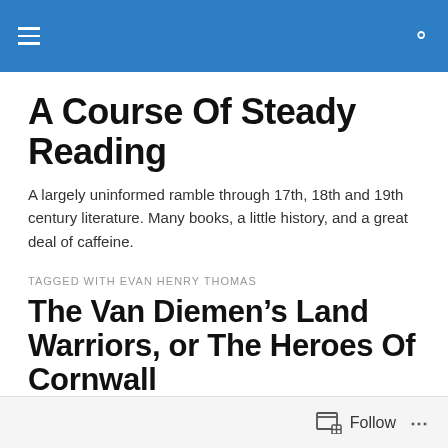A Course Of Steady Reading
A Course Of Steady Reading
A largely uninformed ramble through 17th, 18th and 19th century literature. Many books, a little history, and a great deal of caffeine.
TAGGED WITH EVAN HENRY THOMAS
The Van Diemen’s Land Warriors, or The Heroes Of Cornwall
[Figure (photo): Partial view of a book cover with aged/cream colored background]
Follow